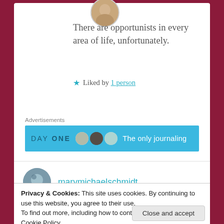[Figure (photo): Circular avatar photo of a person, partially visible at top]
There are opportunists in every area of life, unfortunately.
★ Liked by 1 person
Advertisements
[Figure (screenshot): DAY ONE ad banner in blue: 'DAY ONE' text with circles and 'The only journaling' tagline]
[Figure (photo): Circular avatar of marymichaelschmidt]
marymichaelschmidt
Privacy & Cookies: This site uses cookies. By continuing to use this website, you agree to their use.
To find out more, including how to control cookies, see here:
Cookie Policy
Close and accept